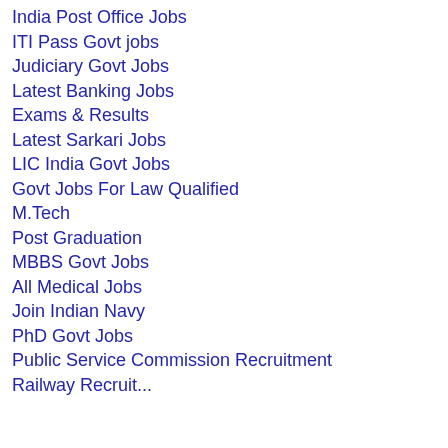India Post Office Jobs
ITI Pass Govt jobs
Judiciary Govt Jobs
Latest Banking Jobs
Exams & Results
Latest Sarkari Jobs
LIC India Govt Jobs
Govt Jobs For Law Qualified
M.Tech
Post Graduation
MBBS Govt Jobs
All Medical Jobs
Join Indian Navy
PhD Govt Jobs
Public Service Commission Recruitment
Railway Recruitment